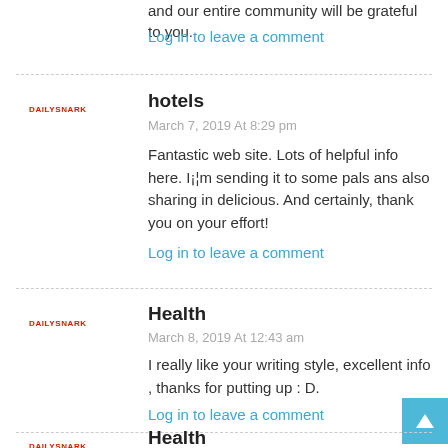and our entire community will be grateful to you.
Log in to leave a comment
hotels
March 7, 2019 At 8:29 pm
Fantastic web site. Lots of helpful info here. I¡¦m sending it to some pals ans also sharing in delicious. And certainly, thank you on your effort!
Log in to leave a comment
Health
March 8, 2019 At 12:43 am
I really like your writing style, excellent info , thanks for putting up : D.
Log in to leave a comment
Health